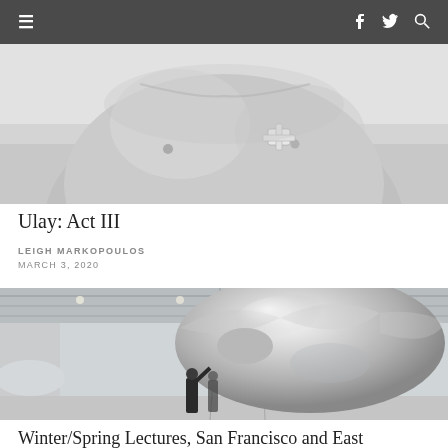≡  f  🐦  🔍
[Figure (photo): Black and white close-up photo of a person's bare chest with a small bandage or medical device attached near the sternum area]
Ulay: Act III
LEIGH MARKOPOULOS
MARCH 3, 2020
[Figure (photo): Color photo of a large reflective chrome/silver balloon or inflatable sculpture shaped like a bulbous bottle in an industrial hangar space, with a person standing beneath it looking up]
Winter/Spring Lectures, San Francisco and East